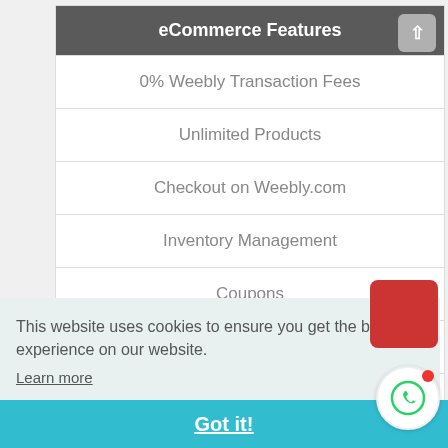eCommerce Features
0% Weebly Transaction Fees
Unlimited Products
Checkout on Weebly.com
Inventory Management
Coupons
Tax Calculator
This website uses cookies to ensure you get the best experience on our website.
Learn more
Got it!